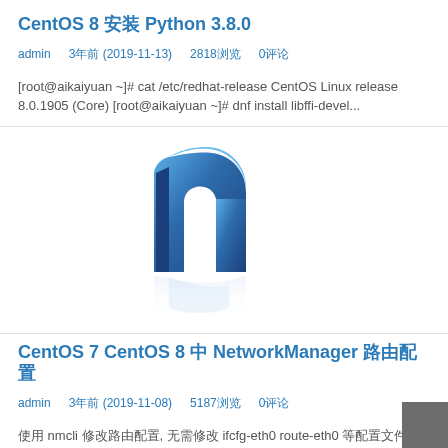CentOS 8 安装 Python 3.8.0
admin   3年前 (2019-11-13)   2818浏览   0评论
[root@aikaiyuan ~]# cat /etc/redhat-release CentOS Linux release 8.0.1905 (Core) [root@aikaiyuan ~]# dnf install libffi-devel...
[Figure (logo): Blue stylized 'n' logo with metallic gradient and reflection]
CentOS 7 CentOS 8 中 NetworkManager 路由配置
admin   3年前 (2019-11-08)   5187浏览   0评论
使用 nmcli 修改路由配置, 无需修改 ifcfg-eth0 route-eth0 等配置文件进行路由配置 无需重启网络服务,使用 nmcli connection up eth0 重载网络 即可生效 [root@aikaiyuan ~]# y...